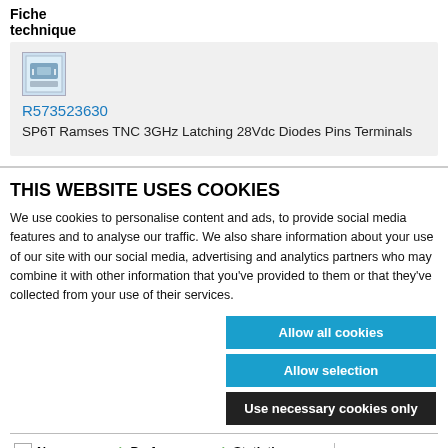Fiche technique
[Figure (photo): Product thumbnail image of SP6T Ramses TNC switch]
R573523630
SP6T Ramses TNC 3GHz Latching 28Vdc Diodes Pins Terminals
THIS WEBSITE USES COOKIES
We use cookies to personalise content and ads, to provide social media features and to analyse our traffic. We also share information about your use of our site with our social media, advertising and analytics partners who may combine it with other information that you've provided to them or that they've collected from your use of their services.
Allow all cookies
Allow selection
Use necessary cookies only
Necessary	Preferences	Statistics
Marketing	Show details